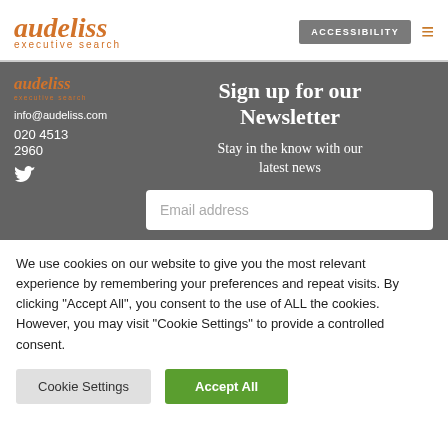[Figure (logo): Audeliss executive search logo in orange italic serif font, with 'executive search' below in small caps]
ACCESSIBILITY
Sign up for our Newsletter
Stay in the know with our latest news
info@audeliss.com
020 4513 2960
Email address
We use cookies on our website to give you the most relevant experience by remembering your preferences and repeat visits. By clicking "Accept All", you consent to the use of ALL the cookies. However, you may visit "Cookie Settings" to provide a controlled consent.
Cookie Settings
Accept All